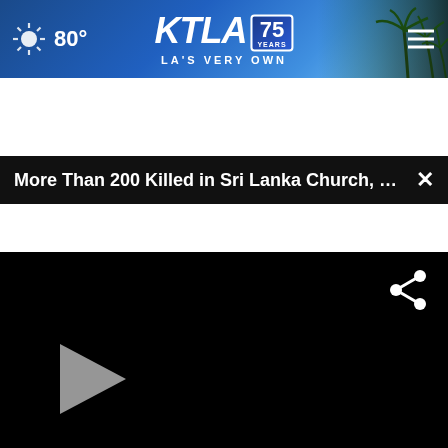KTLA 75 Years — LA's Very Own | 80°
More Than 200 Killed in Sri Lanka Church, Hotel Bo...
[Figure (screenshot): Black video player area with a gray play button on the left and a share icon on the upper right]
[Figure (photo): Partial photo of glasses and ice in a brown/tan background, partially visible]
BUZZED AND DOING SOMETHING TO MAKE YOURSELF OKAY TO DRIVE?